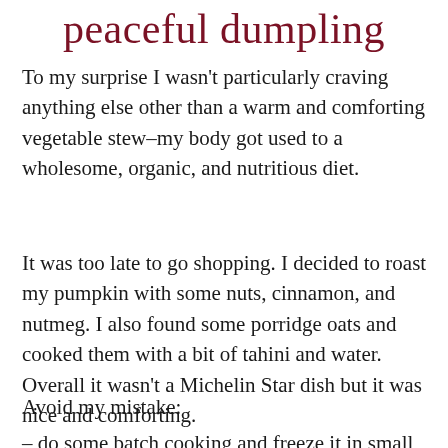peaceful dumpling
To my surprise I wasn't particularly craving anything else other than a warm and comforting vegetable stew–my body got used to a wholesome, organic, and nutritious diet.
It was too late to go shopping. I decided to roast my pumpkin with some nuts, cinnamon, and nutmeg. I also found some porridge oats and cooked them with a bit of tahini and water. Overall it wasn't a Michelin Star dish but it was nice and comforting.
Avoid my mistake:
do some batch cooking and freeze it in small